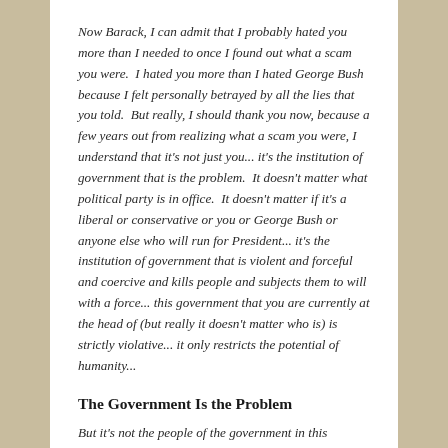Now Barack, I can admit that I probably hated you more than I needed to once I found out what a scam you were.  I hated you more than I hated George Bush because I felt personally betrayed by all the lies that you told.  But really, I should thank you now, because a few years out from realizing what a scam you were, I understand that it's not just you... it's the institution of government that is the problem.  It doesn't matter what political party is in office.  It doesn't matter if it's a liberal or conservative or you or George Bush or anyone else who will run for President... it's the institution of government that is violent and forceful and coercive and kills people and subjects them to will with a force... this government that you are currently at the head of (but really it doesn't matter who is) is strictly violative... it only restricts the potential of humanity...
The Government Is the Problem
But it's not the people of the government in this...